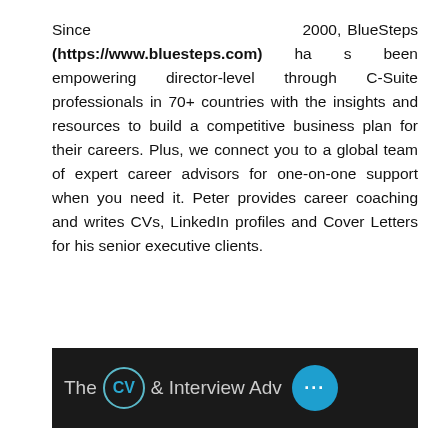Since 2000, BlueSteps (https://www.bluesteps.com) has been empowering director-level through C-Suite professionals in 70+ countries with the insights and resources to build a competitive business plan for their careers. Plus, we connect you to a global team of expert career advisors for one-on-one support when you need it. Peter provides career coaching and writes CVs, LinkedIn profiles and Cover Letters for his senior executive clients.
[Figure (other): Dark banner advertisement showing 'The CV & Interview Adv...' with a CV logo circle in teal and a blue circle with ellipsis dots on the right]